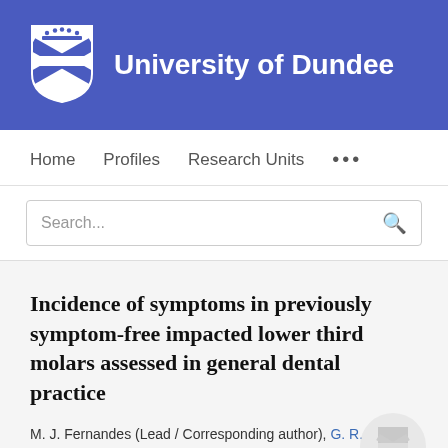University of Dundee
Home   Profiles   Research Units   ...
Search...
Incidence of symptoms in previously symptom-free impacted lower third molars assessed in general dental practice
M. J. Fernandes (Lead / Corresponding author), G. R. Ogden, N. B. Pitts, S. A. Ogston, D. A. Ruta